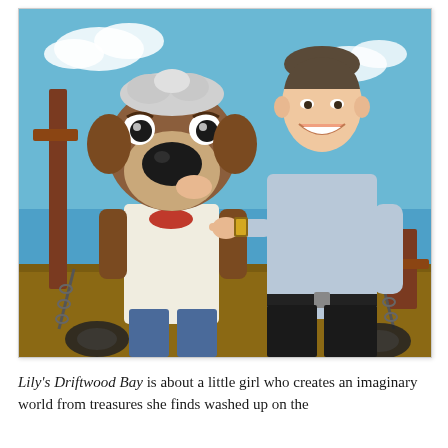[Figure (photo): A man in a light blue shirt and black trousers smiling and pointing at a large dog puppet/costume character (brown dog with white fluffy hair on top, big black nose, wearing a white shirt and red scarf). They are posed together in front of a painted backdrop showing blue sky, ocean, and rustic dockside scenery with chains and tyres.]
Lily's Driftwood Bay is about a little girl who creates an imaginary world from treasures she finds washed up on the